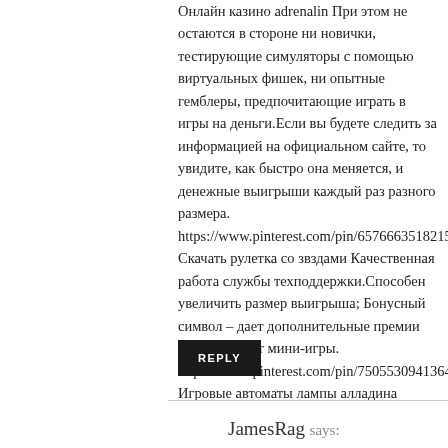Онлайн казино adrenalin При этом не остаются в стороне ни новички, тестирующие симуляторы с помощью виртуальных фишек, ни опытные гемблеры, предпочитающие играть в игры на деньги.Если вы будете следить за информацией на официальном сайте, то увидите, как быстро она меняется, и денежные выигрыши каждый раз разного размера. https://www.pinterest.com/pin/6576663518215034! Скачать рулетка со звздами Качественная работа службы техподдержки.Способен увеличить размер выигрыша; Бонусный символ – дает дополнительные премии или запускает мини-игры. https://www.pinterest.com/pin/7505530941364292! Игровые автоматы лампы алладина
REPLY
JamesRag says: